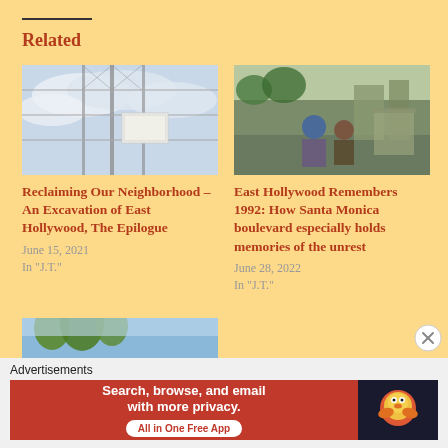Related
[Figure (photo): Photograph of chain-link fence with a sign, cloudy sky in background]
Reclaiming Our Neighborhood – An Excavation of East Hollywood, The Epilogue
June 15, 2021
In "J.T."
[Figure (photo): Photograph of street scene with people, blue helmet visible, urban environment]
East Hollywood Remembers 1992: How Santa Monica boulevard especially holds memories of the unrest
June 28, 2022
In "J.T."
[Figure (photo): Partial photo of palm trees and blue sky (cropped at bottom)]
Advertisements
[Figure (screenshot): DuckDuckGo advertisement banner: Search, browse, and email with more privacy. All in One Free App]